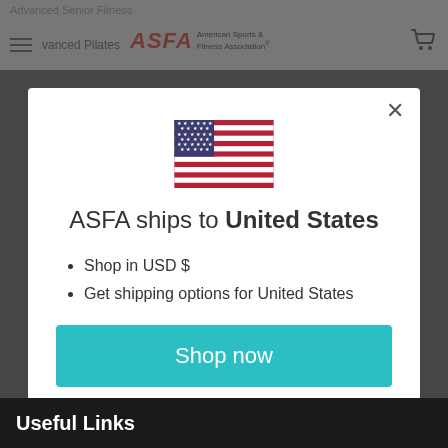Advanced Senior Fitness
Advanced Pilates | ASFA American Sports & Fitness Association
[Figure (screenshot): Modal dialog on ASFA website showing US flag, 'ASFA ships to United States' message, bullet points for USD and shipping options, a teal 'Shop now' button, and a 'Change shipping country' link]
ASFA ships to United States
Shop in USD $
Get shipping options for United States
Shop now
Change shipping country
Useful Links